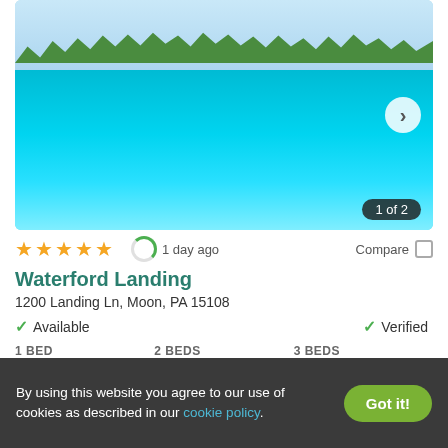[Figure (photo): Outdoor swimming pool with blue water, lounge chairs along the edge, and trees in the background. Image counter shows '1 of 2' with a right arrow navigation.]
★★★★★ 1 day ago Compare
Waterford Landing
1200 Landing Ln, Moon, PA 15108
✓ Available   ✓ Verified
1 BED $1,401+   2 BEDS $1,681+   3 BEDS $1,784+
By using this website you agree to our use of cookies as described in our cookie policy.